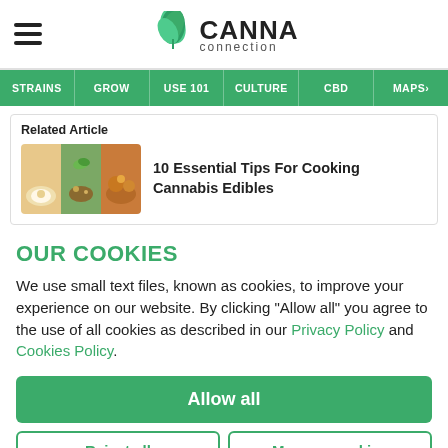[Figure (logo): Canna Connection logo with cannabis leaf and hamburger menu icon]
STRAINS | GROW | USE 101 | CULTURE | CBD | MAPS
Related Article
[Figure (photo): Food collage image showing cannabis edibles dishes]
10 Essential Tips For Cooking Cannabis Edibles
OUR COOKIES
We use small text files, known as cookies, to improve your experience on our website. By clicking "Allow all" you agree to the use of all cookies as described in our Privacy Policy and Cookies Policy.
Allow all
Reject all
Manage cookies